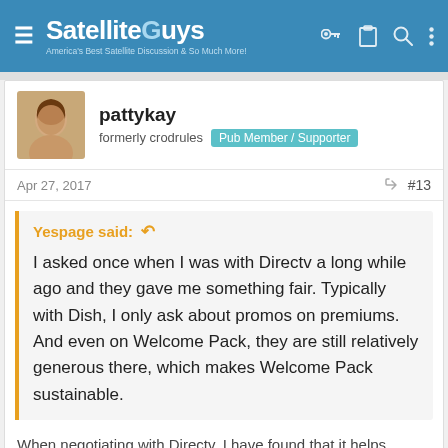SatelliteGuys — America's Best Satellite Discussion & So Much More!
pattykay
formerly crodrules  Pub Member / Supporter
Apr 27, 2017  #13
Yespage said:
I asked once when I was with Directv a long while ago and they gave me something fair. Typically with Dish, I only ask about promos on premiums. And even on Welcome Pack, they are still relatively generous there, which makes Welcome Pack sustainable.
When negotiating with Directv, I have found that it helps ... for $19.9... for